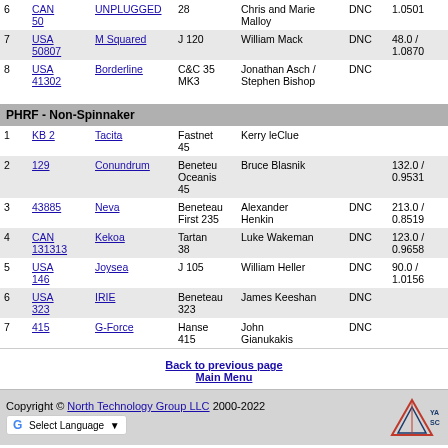| # | Sail | Boat | Class | Skipper | Status | Rating/PHRF | Start/Finish | Elapsed | Corrected |
| --- | --- | --- | --- | --- | --- | --- | --- | --- | --- |
| 6 | CAN 50 | UNPLUGGED | 28 | Chris and Marie Malloy | DNC | 1.0501 |  |  |  |
| 7 | USA 50807 | M Squared | J 120 | William Mack | DNC | 48.0 / 1.0870 |  |  |  |
| 8 | USA 41302 | Borderline | C&C 35 MK3 | Jonathan Asch / Stephen Bishop | DNC |  |  |  |  |
PHRF - Non-Spinnaker
| # | Sail | Boat | Class | Skipper | Status | Rating/PHRF | Start/Finish | Elapsed | Corrected |
| --- | --- | --- | --- | --- | --- | --- | --- | --- | --- |
| 1 | KB 2 | Tacita | Fastnet 45 | Kerry leClue |  |  | 16/Jun/18 - 15:47:49 | 0:01:32:49 | 0:01:30:0 |
| 2 | 129 | Conundrum | Beneteu Oceanis 45 | Bruce Blasnik |  | 132.0 / 0.9531 | 16/Jun/18 - 15:54:03 | 0:01:44:03 | 0:01:39:1 |
| 3 | 43885 | Neva | Beneteau First 235 | Alexander Henkin | DNC | 213.0 / 0.8519 |  |  |  |
| 4 | CAN 131313 | Kekoa | Tartan 38 | Luke Wakeman | DNC | 123.0 / 0.9658 |  |  |  |
| 5 | USA 146 | Joysea | J 105 | William Heller | DNC | 90.0 / 1.0156 |  |  |  |
| 6 | USA 323 | IRIE | Beneteau 323 | James Keeshan | DNC |  |  |  |  |
| 7 | 415 | G-Force | Hanse 415 | John Gianukakis | DNC |  |  |  |  |
Back to previous page
Main Menu
Copyright © North Technology Group LLC 2000-2022